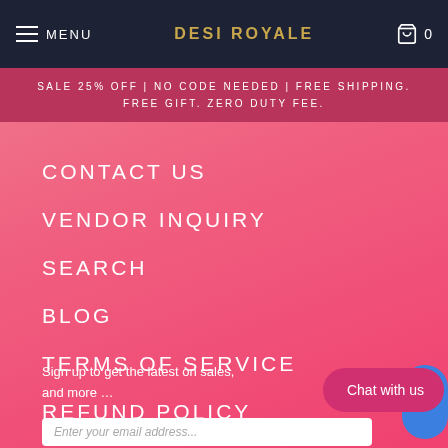MENU  DESI ROYALE  0
SALE 25% OFF | NO CODE NEEDED | FREE SHIPPING. FREE GIFT. ZERO DUTY FEE.
CONTACT US
VENDOR INQUIRY
SEARCH
BLOG
TERMS OF SERVICE
REFUND POLICY
Sign up to get the latest on sales, and more …
Chat with us
Enter your email address...